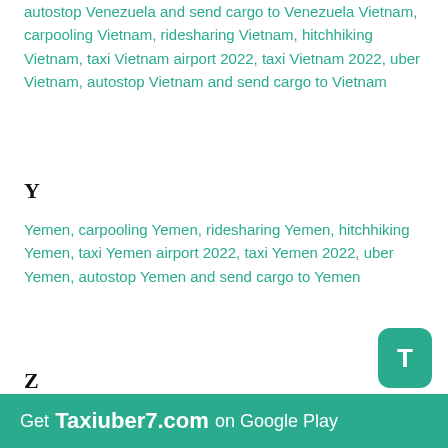autostop Venezuela and send cargo to Venezuela Vietnam, carpooling Vietnam, ridesharing Vietnam, hitchhiking Vietnam, taxi Vietnam airport 2022, taxi Vietnam 2022, uber Vietnam, autostop Vietnam and send cargo to Vietnam
Y
Yemen, carpooling Yemen, ridesharing Yemen, hitchhiking Yemen, taxi Yemen airport 2022, taxi Yemen 2022, uber Yemen, autostop Yemen and send cargo to Yemen
Z
Zambia, carpooling Zambia, ridesharing Zambia, hitchhiking Zambia, taxi Zambia airport 2022, taxi Zambia 2022, uber Zambia, autostop Zambia and send cargo to Zambia Zimbabwe, carpooling Zimbabwe, ridesharing Zimbabwe, hitchhiking Zimbabwe, taxi Zimbabwe airport 2022, taxi Zimbabwe 2022, uber Zimbabwe, autostop Zimbabwe and send cargo to Zimbabwe
Get Taxiuber7.com on Google Play